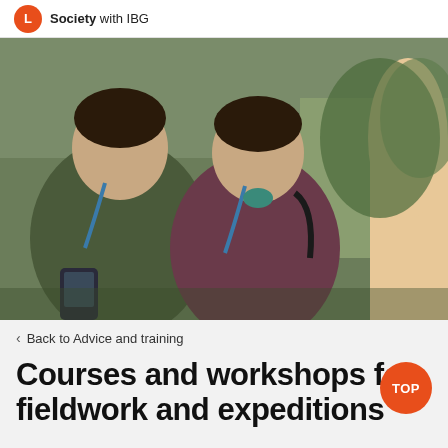Society with IBG
[Figure (photo): Two young men wearing blue lanyards looking at a handheld GPS device outdoors, with a young woman partially visible on the right. They appear to be students on a fieldwork or expedition activity.]
Back to Advice and training
Courses and workshops for fieldwork and expeditions